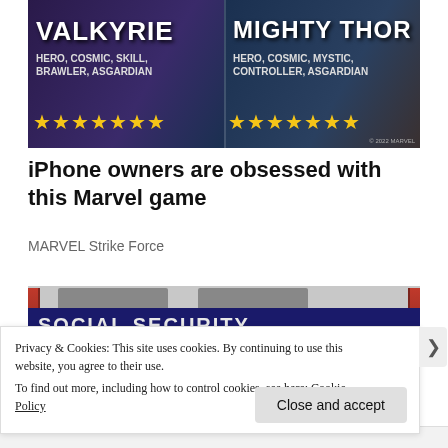[Figure (illustration): Marvel Strike Force game ad showing Valkyrie (left, HERO, COSMIC, SKILL, BRAWLER, ASGARDIAN, 7 stars) and Mighty Thor (right, HERO, COSMIC, MYSTIC, CONTROLLER, ASGARDIAN, 7 stars) characters on a dark fantasy background]
iPhone owners are obsessed with this Marvel game
MARVEL Strike Force
[Figure (photo): Exterior of a Social Security Administration building with signage reading SOCIAL SECURITY ADMINISTRATION, two red pillars visible, and overhead room dividers above the entrance]
Privacy & Cookies: This site uses cookies. By continuing to use this website, you agree to their use.
To find out more, including how to control cookies, see here: Cookie Policy
Close and accept